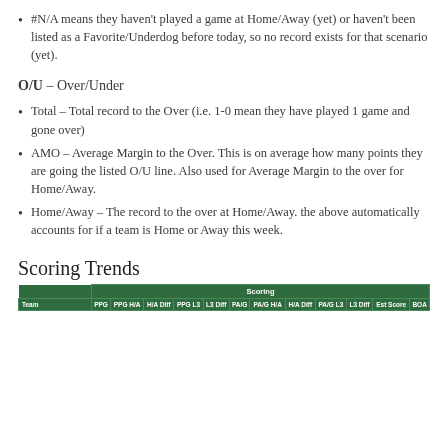#N/A means they haven't played a game at Home/Away (yet) or haven't been listed as a Favorite/Underdog before today, so no record exists for that scenario (yet).
O/U – Over/Under
Total – Total record to the Over (i.e. 1-0 mean they have played 1 game and gone over)
AMO – Average Margin to the Over. This is on average how many points they are going the listed O/U line. Also used for Average Margin to the over for Home/Away.
Home/Away – The record to the over at Home/Away. the above automatically accounts for if a team is Home or Away this week.
Scoring Trends
|  | Scoring |  |
| --- | --- | --- |
| Team | PPG | PPG H/A | H/A Diff | PPG L3 | L3 Diff | PA/G | PA/G H/A | H/A Diff | PA/G L3 | L3 Diff | Est Score | BOA |